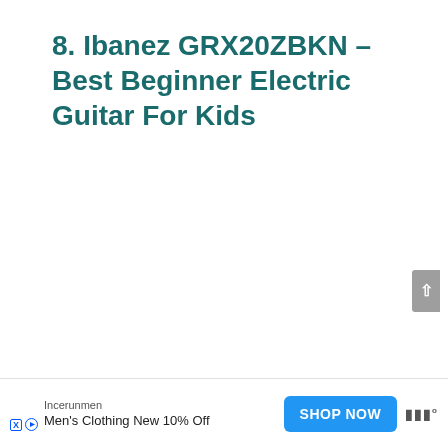8. Ibanez GRX20ZBKN – Best Beginner Electric Guitar For Kids
[Figure (photo): Product card showing an Ibanez electric guitar (neck and partial body visible) on a light gray background, with a green oval badge showing the score 8.6 in the upper right corner of the card.]
[Figure (infographic): Advertisement banner: Incerunmen brand, 'Men's Clothing New 10% Off', blue SHOP NOW button, and logo on the right.]